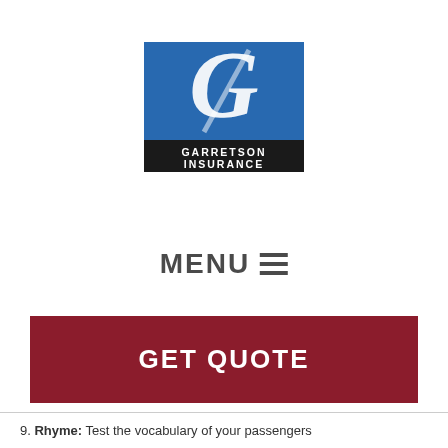[Figure (logo): Garretson Insurance logo: blue square with a white stylized G letter on top, black rectangle below with 'GARRETSON INSURANCE' text in white serif font]
MENU ☰
GET QUOTE
9. Rhyme: Test the vocabulary of your passengers